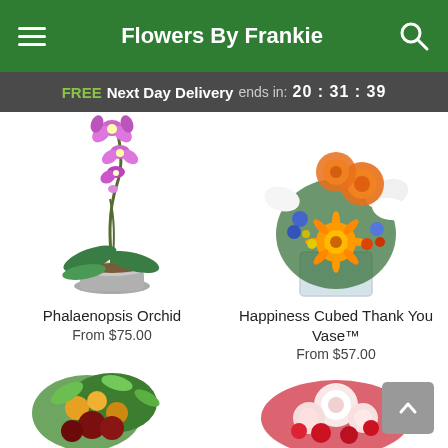Flowers By Frankie
FREE Next Day Delivery ends in: 20:31:39
[Figure (photo): Phalaenopsis orchid plant in a silver metallic pot with purple/pink blooms on tall arching stem and green leaves]
Phalaenopsis Orchid
From $75.00
[Figure (photo): Happiness Cubed Thank You Vase arrangement with orange roses, orange gerbera daisy, white lilies, blue flowers, yellow flowers in a square glass vase]
Happiness Cubed Thank You Vase™
From $57.00
[Figure (photo): Partial view of a colorful flower arrangement with green ferns and dark red/crimson flowers at bottom left]
[Figure (photo): Partial view of a flower arrangement with white and pink roses and red flowers at bottom right]